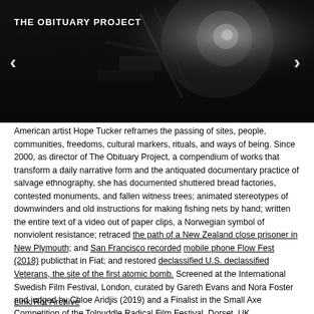[Figure (photo): Black and white photograph of a machinery or industrial scene, dark and moody with bright light source in background]
THE OBITUARY PROJECT
American artist Hope Tucker reframes the passing of sites, people, communities, freedoms, cultural markers, rituals, and ways of being. Since 2000, as director of The Obituary Project, a compendium of works that transform a daily narrative form and the antiquated documentary practice of salvage ethnography, she has documented shuttered bread factories, contested monuments, and fallen witness trees; animated stereotypes of downwinders and old instructions for making fishing nets by hand; written the entire text of a video out of paper clips, a Norwegian symbol of nonviolent resistance; retraced the path of a New Zealand close prisoner in New Plymouth; and San Francisco recorded mobile phone Flow Fest (2018) publicthat in Fiat; and restored declassified U.S. declassified Veterans, the site of the first atomic bomb. Screened at the International Swedish Film Festival, London, curated by Gareth Evans and Nora Foster and judged by Chloe Aridjis (2019) and a Finalist in the Small Axe Competition of the Tolpuddle Radical Film Festival, Dorset, UK (2019).   Additional festival screenings include: (2020) Jaipur International Film Festival, Rajasthan, India; Vienna Shorts, Austria. (2019) AmDocs, Palm Springs, California; Athens International Film & Video Festival; Big Muddy, Carbondale, IL; Chicago Underground Film Festival; Iowa City Docs; Tehran International, Iran.
Link Rot Archive